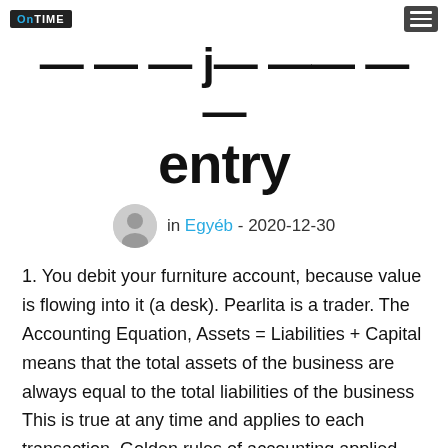OnTIME
journal entry
in Egyéb - 2020-12-30
1. You debit your furniture account, because value is flowing into it (a desk). Pearlita is a trader. The Accounting Equation, Assets = Liabilities + Capital means that the total assets of the business are always equal to the total liabilities of the business This is true at any time and applies to each transaction. Golden rules of accounting applied (UK Style), Modern rules of accounting applied (US-Style), Post a journal entry for